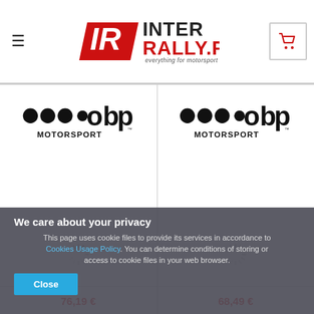[Figure (logo): InterRally.pl logo — everything for motorsport — with hamburger menu icon on left and red shopping cart icon on right]
[Figure (logo): OBP Motorsport logo (black dots and letters, left product cell) with loading spinner below]
[Figure (logo): OBP Motorsport logo (black dots and letters, right product cell) with loading spinner below]
We care about your privacy
This page uses cookie files to provide its services in accordance to Cookies Usage Policy. You can determine conditions of storing or access to cookie files in your web browser.
Close
76,19 €
68,49 €